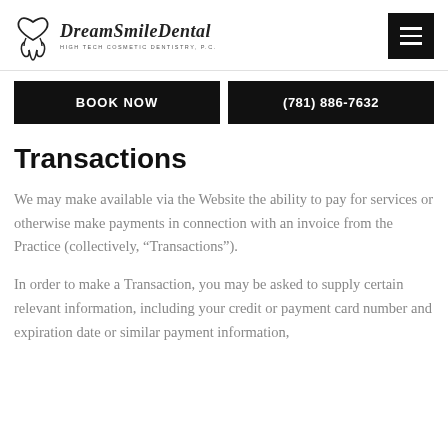DreamSmileDental HIGH TECH COSMETIC DENTISTRY, P.C.
BOOK NOW
(781) 886-7632
Transactions
We may make available via the Website the ability to pay for services or otherwise make payments in connection with an invoice from the Practice (collectively, “Transactions”).
In order to make a Transaction, you may be asked to supply certain relevant information, including your credit or payment card number and expiration date or similar payment information,